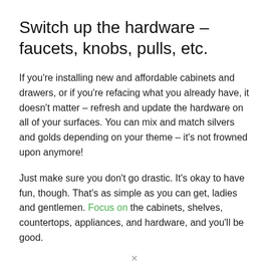Switch up the hardware – faucets, knobs, pulls, etc.
If you're installing new and affordable cabinets and drawers, or if you're refacing what you already have, it doesn't matter – refresh and update the hardware on all of your surfaces. You can mix and match silvers and golds depending on your theme – it's not frowned upon anymore!
Just make sure you don't go drastic. It's okay to have fun, though. That's as simple as you can get, ladies and gentlemen. Focus on the cabinets, shelves, countertops, appliances, and hardware, and you'll be good.